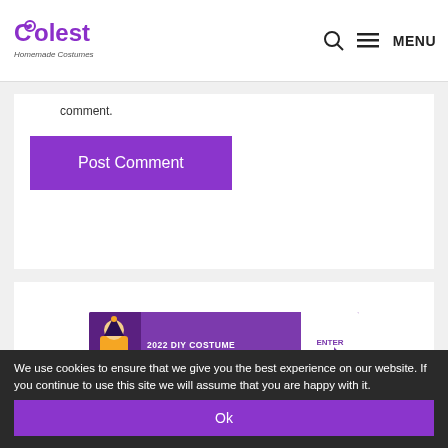Coolest Homemade Costumes — MENU
comment.
Post Comment
[Figure (illustration): 2022 DIY Costume Contest banner with purple background, costume character, and ENTER arrow]
We use cookies to ensure that we give you the best experience on our website. If you continue to use this site we will assume that you are happy with it.
Ok
cisco Data Architect/Analyst/Administrator Jobs in Ashburn Apply Now jobble.com